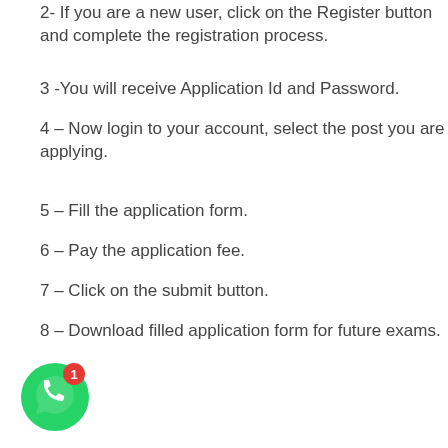2- If you are a new user, click on the Register button and complete the registration process.
3 -You will receive Application Id and Password.
4 – Now login to your account, select the post you are applying.
5 – Fill the application form.
6 – Pay the application fee.
7 – Click on the submit button.
8 – Download filled application form for future exams.
[Figure (illustration): WhatsApp contact button (green circle with phone icon) with a red notification badge showing '1']